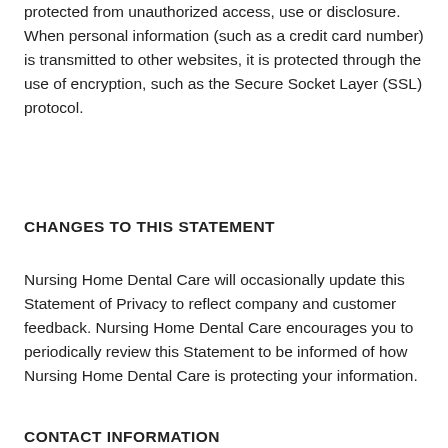protected from unauthorized access, use or disclosure. When personal information (such as a credit card number) is transmitted to other websites, it is protected through the use of encryption, such as the Secure Socket Layer (SSL) protocol.
CHANGES TO THIS STATEMENT
Nursing Home Dental Care will occasionally update this Statement of Privacy to reflect company and customer feedback. Nursing Home Dental Care encourages you to periodically review this Statement to be informed of how Nursing Home Dental Care is protecting your information.
CONTACT INFORMATION
Nursing Home Dental Care welcomes your comments regarding this Statement of Privacy. If you believe that Nursing Home Dental Care has not adhered to this Statement, please contact Nursing Home Dental Care at info@nursinghomedentalcare.com. We will use